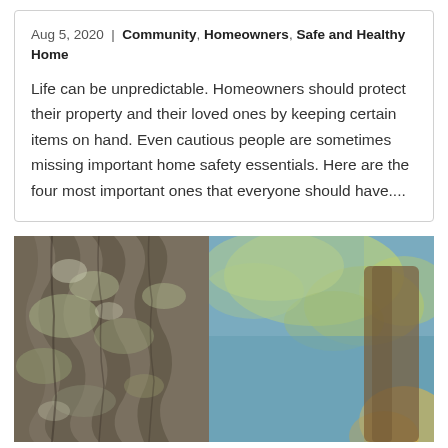Aug 5, 2020 | Community, Homeowners, Safe and Healthy Home
Life can be unpredictable. Homeowners should protect their property and their loved ones by keeping certain items on hand. Even cautious people are sometimes missing important home safety essentials. Here are the four most important ones that everyone should have....
[Figure (photo): Close-up photograph of tree bark with moss and lichen on the left side, and blurred yellow-green foliage and a second tree trunk visible in the bokeh background.]